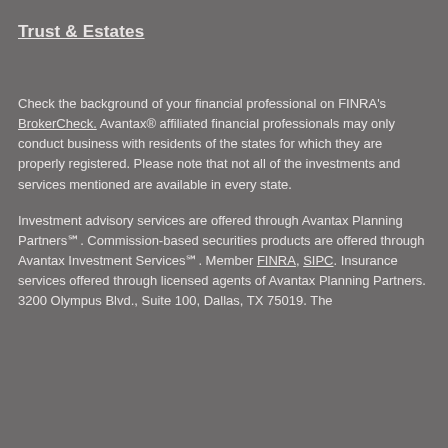Trust & Estates
Check the background of your financial professional on FINRA's BrokerCheck. Avantax® affiliated financial professionals may only conduct business with residents of the states for which they are properly registered. Please note that not all of the investments and services mentioned are available in every state.
Investment advisory services are offered through Avantax Planning Partners℠. Commission-based securities products are offered through Avantax Investment Services℠. Member FINRA, SIPC. Insurance services offered through licensed agents of Avantax Planning Partners. 3200 Olympus Blvd., Suite 100, Dallas, TX 75019. The